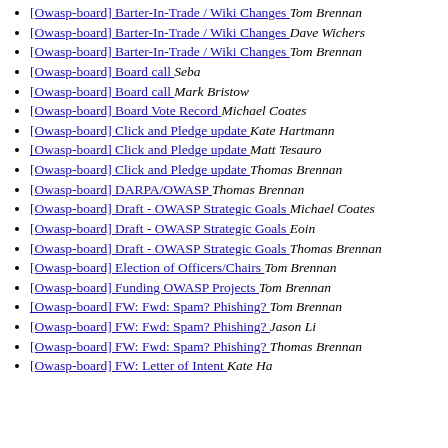[Owasp-board] Barter-In-Trade / Wiki Changes  Tom Brennan
[Owasp-board] Barter-In-Trade / Wiki Changes  Dave Wichers
[Owasp-board] Barter-In-Trade / Wiki Changes  Tom Brennan
[Owasp-board] Board call  Seba
[Owasp-board] Board call  Mark Bristow
[Owasp-board] Board Vote Record  Michael Coates
[Owasp-board] Click and Pledge update  Kate Hartmann
[Owasp-board] Click and Pledge update  Matt Tesauro
[Owasp-board] Click and Pledge update  Thomas Brennan
[Owasp-board] DARPA/OWASP  Thomas Brennan
[Owasp-board] Draft - OWASP Strategic Goals  Michael Coates
[Owasp-board] Draft - OWASP Strategic Goals  Eoin
[Owasp-board] Draft - OWASP Strategic Goals  Thomas Brennan
[Owasp-board] Election of Officers/Chairs  Tom Brennan
[Owasp-board] Funding OWASP Projects  Tom Brennan
[Owasp-board] FW: Fwd: Spam? Phishing?  Tom Brennan
[Owasp-board] FW: Fwd: Spam? Phishing?  Jason Li
[Owasp-board] FW: Fwd: Spam? Phishing?  Thomas Brennan
[Owasp-board] FW: Letter of Intent  Kate Hartmann